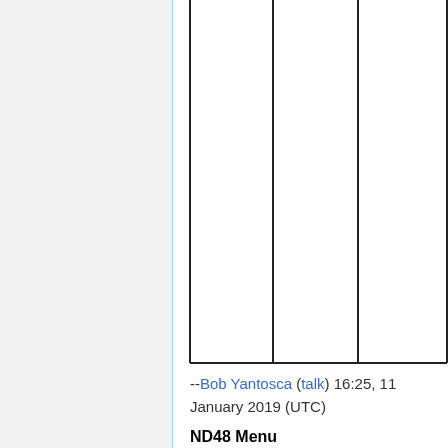[Figure (other): A partial table/grid structure with vertical and horizontal borders visible, showing column dividers. The table appears to be cut off at the top of the page.]
--Bob Yantosca (talk) 16:25, 11 January 2019 (UTC)
ND48 Menu